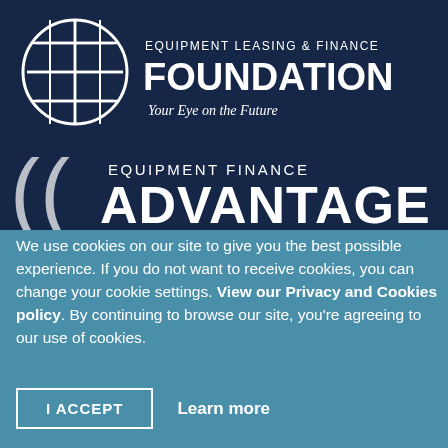[Figure (logo): Equipment Leasing & Finance Foundation logo with globe icon, text 'EQUIPMENT LEASING & FINANCE', 'FOUNDATION', 'Your Eye on the Future']
[Figure (logo): Equipment Finance Advantage banner logo with curved lines graphic and large text 'EQUIPMENT FINANCE' / 'ADVANTAGE']
We use cookies on our site to give you the best possible experience. If you do not want to receive cookies, you can change your cookie settings. View our Privacy and Cookies policy. By continuing to browse our site, you’re agreeing to our use of cookies.
I ACCEPT    Learn more